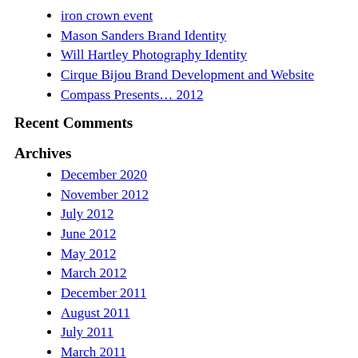iron crown event
Mason Sanders Brand Identity
Will Hartley Photography Identity
Cirque Bijou Brand Development and Website
Compass Presents… 2012
Recent Comments
Archives
December 2020
November 2012
July 2012
June 2012
May 2012
March 2012
December 2011
August 2011
July 2011
March 2011
November 2010
October 2010
September 2010
July 2010